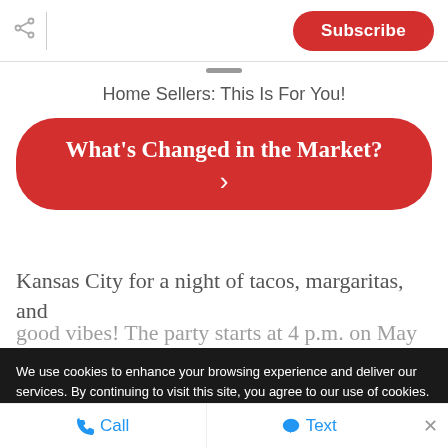Subscribe
Home Sellers: This Is For You!
What's Changed in the Market? ›
Kansas City for a night of tacos, margaritas, and
We use cookies to enhance your browsing experience and deliver our services. By continuing to visit this site, you agree to our use of cookies. More info
Call   Text